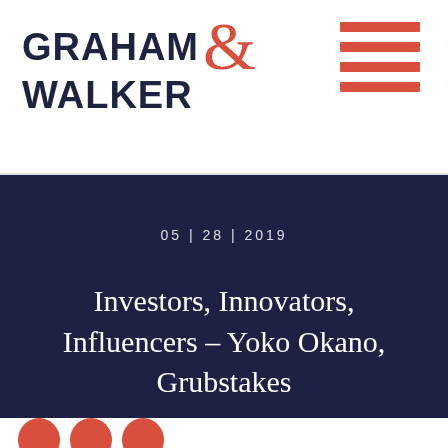GRAHAM & WALKER
05 | 28 | 2019
Investors, Innovators, Influencers – Yoko Okano, Grubstakes